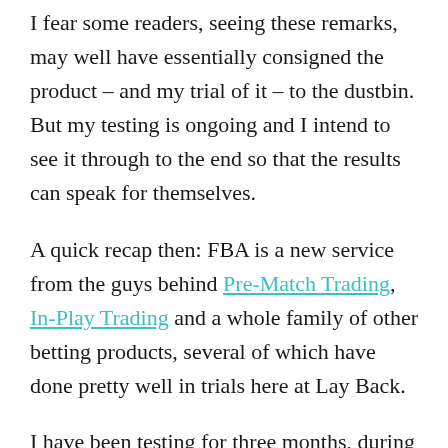I fear some readers, seeing these remarks, may well have essentially consigned the product – and my trial of it – to the dustbin. But my testing is ongoing and I intend to see it through to the end so that the results can speak for themselves.
A quick recap then: FBA is a new service from the guys behind Pre-Match Trading, In-Play Trading and a whole family of other betting products, several of which have done pretty well in trials here at Lay Back.
I have been testing for three months, during which, almost inevitably given that this is sports betting,